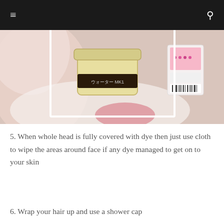≡  🔍
[Figure (photo): A photo showing a jar of hair dye product with Japanese text, a pink product box, and gloved hands, with a white border frame around the image area.]
5. When whole head is fully covered with dye then just use cloth to wipe the areas around face if any dye managed to get on to your skin
6. Wrap your hair up and use a shower cap